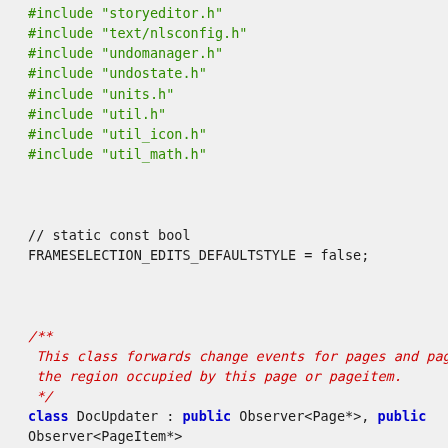#include "storyeditor.h"
#include "text/nlsconfig.h"
#include "undomanager.h"
#include "undostate.h"
#include "units.h"
#include "util.h"
#include "util_icon.h"
#include "util_math.h"

// static const bool
FRAMESELECTION_EDITS_DEFAULTSTYLE = false;

/**
 * This class forwards change events for pages and pageitems to
 *  the region occupied by this page or pageitem.
 */
class DocUpdater : public Observer<Page*>, public Observer<PageItem*>
{
        ScribusDoc* doc;
        int  m_updateEnabled;
        bool m_docChangeNeeded;